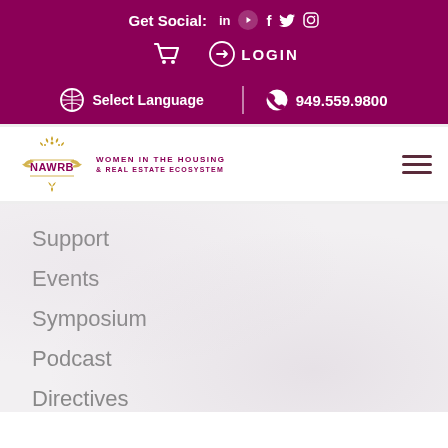Get Social: in  f  (social icons)
LOGIN (cart icon)
Select Language | 949.559.9800
[Figure (logo): NAWRB logo - Women in the Housing & Real Estate Ecosystem with decorative gold ornament and hamburger menu icon]
Support
Events
Symposium
Podcast
Directives